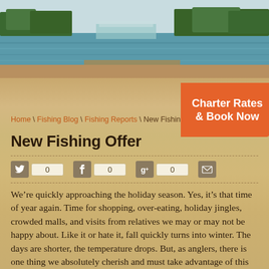[Figure (photo): Outdoor lake/water scene with trees in background and a wooden dock or structure near water, serving as the hero header image]
[Figure (illustration): Orange promotional badge/banner in upper right reading 'Charter Rates & Book Now']
Home \ Fishing Blog \ Fishing Reports \ New Fishing O...
New Fishing Offer
[Figure (infographic): Social share bar with Twitter (0), Facebook (0), Google+ (0), and Email icons]
We’re quickly approaching the holiday season. Yes, it’s that time of year again. Time for shopping, over-eating, holiday jingles, crowded malls, and visits from relatives we may or may not be happy about. Like it or hate it, fall quickly turns into winter. The days are shorter, the temperature drops. But, as anglers, there is one thing we absolutely cherish and must take advantage of this time of year. That’s the spectacular bite in the backcountry